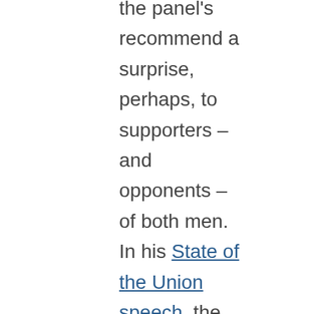the panel's recommend a surprise, perhaps, to supporters – and opponents – of both men.  In his State of the Union speech, the President called for Democrats and Republicans to work together, as they did during the lame-duck session at